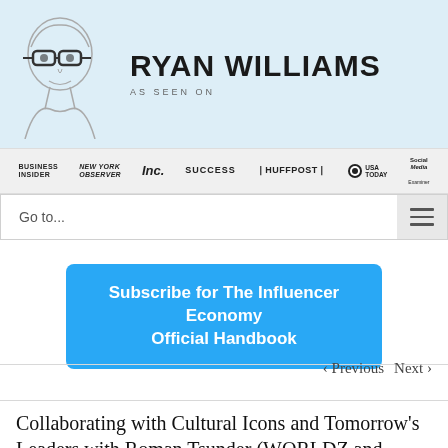[Figure (illustration): Illustrated line drawing portrait of Ryan Williams wearing glasses, on a light blue background. To the right, large bold text reads RYAN WILLIAMS with AS SEEN ON below.]
[Figure (logo): Row of media publication logos: Business Insider, New York Observer, Inc., SUCCESS, HuffPost, USA TODAY, Social Media Examiner]
Go to...
Subscribe for The Influencer Economy Official Handbook
‹ Previous   Next ›
Collaborating with Cultural Icons and Tomorrow's Leaders with Roman Tsunder (WORLDZ and PTTOW!)